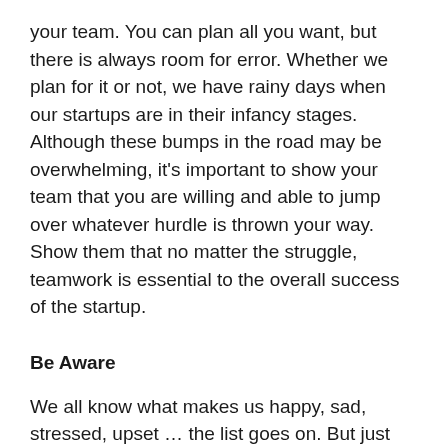your team. You can plan all you want, but there is always room for error. Whether we plan for it or not, we have rainy days when our startups are in their infancy stages. Although these bumps in the road may be overwhelming, it's important to show your team that you are willing and able to jump over whatever hurdle is thrown your way. Show them that no matter the struggle, teamwork is essential to the overall success of the startup.
Be Aware
We all know what makes us happy, sad, stressed, upset … the list goes on. But just because we are self-aware, that doesn't mean that we are always aware of what sparks emotions in others. When starting out, put your best foot forward by trying to bond with your staff as a team and with each individual. Understanding where each member comes from and what drives them to